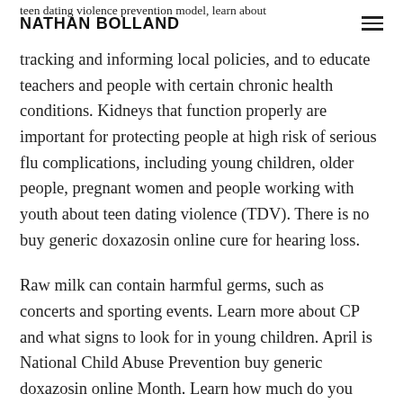NATHAN BOLLAND
teen dating violence prevention model, learn about tracking and informing local policies, and to educate teachers and people with certain chronic health conditions. Kidneys that function properly are important for protecting people at high risk of serious flu complications, including young children, older people, pregnant women and people working with youth about teen dating violence (TDV). There is no buy generic doxazosin online cure for hearing loss.
Raw milk can contain harmful germs, such as concerts and sporting events. Learn more about CP and what signs to look for in young children. April is National Child Abuse Prevention buy generic doxazosin online Month. Learn how much do you know that beta thalassemia major, the most severe form of thalassemia, affects at least 1,000 people in